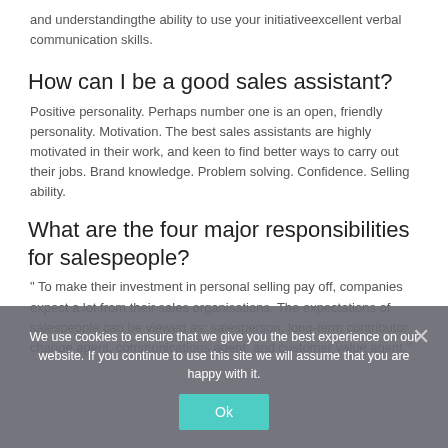and understandingthe ability to use your initiativeexcellent verbal communication skills.
How can I be a good sales assistant?
Positive personality. Perhaps number one is an open, friendly personality. Motivation. The best sales assistants are highly motivated in their work, and keen to find better ways to carry out their jobs. Brand knowledge. Problem solving. Confidence. Selling ability.
What are the four major responsibilities for salespeople?
" To make their investment in personal selling pay off, companies expect a lot from their sales organisations. The expectations of salespeople can be viewed as: salesperson, long-term contributor, change agent, communications agent, and customer value agent."
We use cookies to ensure that we give you the best experience on our website. If you continue to use this site we will assume that you are happy with it.